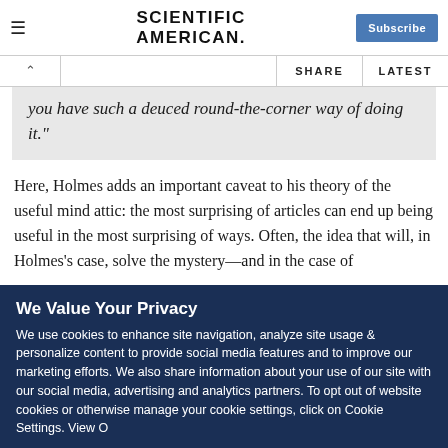SCIENTIFIC AMERICAN
you have such a deuced round-the-corner way of doing it."
Here, Holmes adds an important caveat to his theory of the useful mind attic: the most surprising of articles can end up being useful in the most surprising of ways. Often, the idea that will, in Holmes's case, solve the mystery—and in the case of
We Value Your Privacy
We use cookies to enhance site navigation, analyze site usage & personalize content to provide social media features and to improve our marketing efforts. We also share information about your use of our site with our social media, advertising and analytics partners. To opt out of website cookies or otherwise manage your cookie settings, click on Cookie Settings. View Our